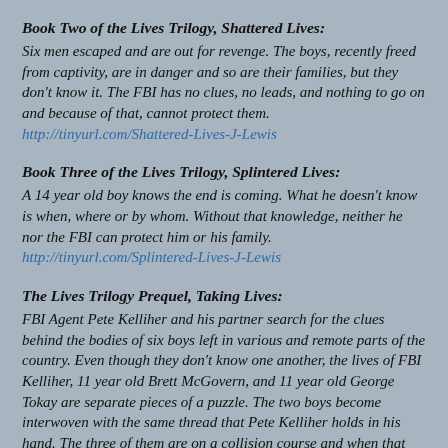Book Two of the Lives Trilogy, Shattered Lives: Six men escaped and are out for revenge. The boys, recently freed from captivity, are in danger and so are their families, but they don't know it. The FBI has no clues, no leads, and nothing to go on and because of that, cannot protect them. http://tinyurl.com/Shattered-Lives-J-Lewis
Book Three of the Lives Trilogy, Splintered Lives: A 14 year old boy knows the end is coming. What he doesn't know is when, where or by whom. Without that knowledge, neither he nor the FBI can protect him or his family. http://tinyurl.com/Splintered-Lives-J-Lewis
The Lives Trilogy Prequel, Taking Lives: FBI Agent Pete Kelliher and his partner search for the clues behind the bodies of six boys left in various and remote parts of the country. Even though they don't know one another, the lives of FBI Kelliher, 11 year old Brett McGovern, and 11 year old George Tokay are separate pieces of a puzzle. The two boys become interwoven with the same thread that Pete Kelliher holds in his hand. The three of them are on a collision course and when that